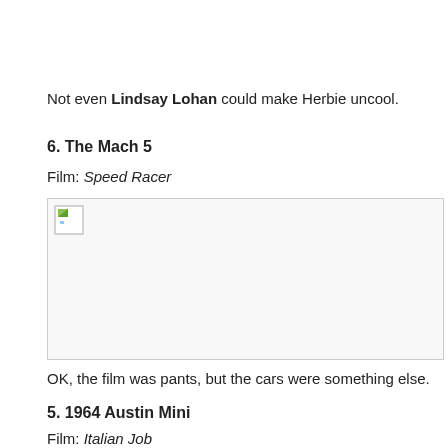Not even Lindsay Lohan could make Herbie uncool.
6. The Mach 5
Film: Speed Racer
[Figure (photo): Broken image placeholder for Speed Racer Mach 5 car]
OK, the film was pants, but the cars were something else.
5. 1964 Austin Mini
Film: Italian Job
[youtube]http://www.youtube.com/watch?